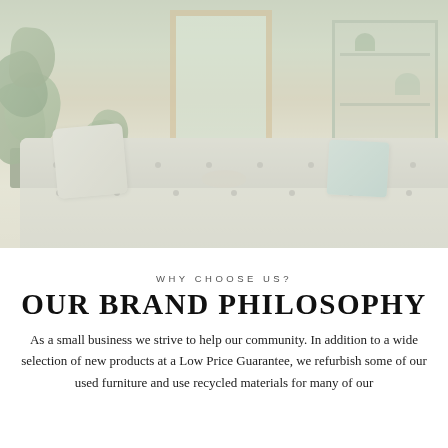[Figure (photo): A faded/washed-out interior room photo showing a tufted sofa with pillows, large green houseplants on the left, a framed window in the center background, and a shelf unit on the right with plants and decor items.]
WHY CHOOSE US?
OUR BRAND PHILOSOPHY
As a small business we strive to help our community. In addition to a wide selection of new products at a Low Price Guarantee, we refurbish some of our used furniture and use recycled materials for many of our